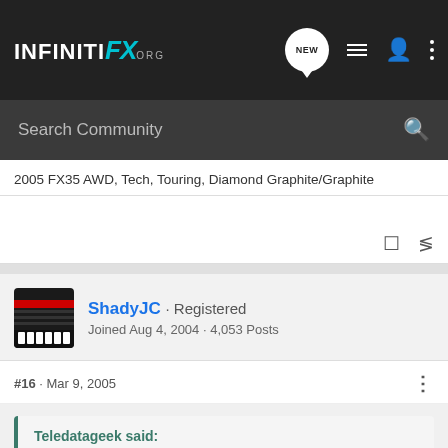INFINITI FX.org
Search Community
2005 FX35 AWD, Tech, Touring, Diamond Graphite/Graphite
ShadyJC · Registered
Joined Aug 4, 2004 · 4,053 Posts
#16 · Mar 9, 2005
Teledatageek said:
I need to find out if it works with Blackberry's as the current Motorola Bluetooth kit sold by Verizon does not for some reason.
Really?? Where did you see/read/hear this?